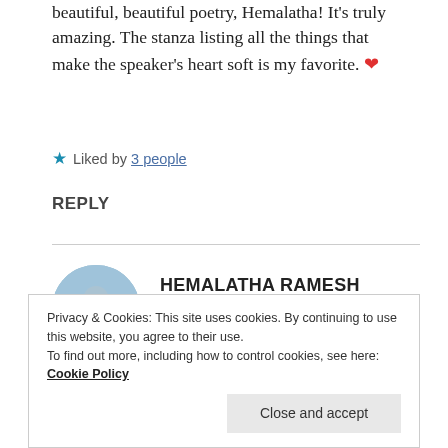beautiful, beautiful poetry, Hemalatha! It's truly amazing. The stanza listing all the things that make the speaker's heart soft is my favorite. ❤
★ Liked by 3 people
REPLY
[Figure (photo): Circular avatar photo of Hemalatha Ramesh, showing a person against a blue sky background]
HEMALATHA RAMESH
January 7, 2021 at 9:25 am
Privacy & Cookies: This site uses cookies. By continuing to use this website, you agree to their use.
To find out more, including how to control cookies, see here: Cookie Policy
Close and accept